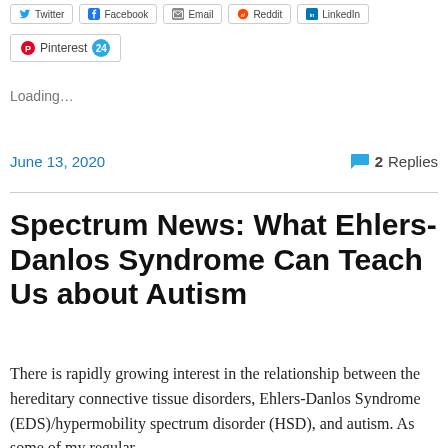Twitter | Facebook | Email | Reddit | LinkedIn
Pinterest 24
Loading...
June 13, 2020   2 Replies
Spectrum News: What Ehlers-Danlos Syndrome Can Teach Us about Autism
There is rapidly growing interest in the relationship between the hereditary connective tissue disorders, Ehlers-Danlos Syndrome (EDS)/hypermobility spectrum disorder (HSD), and autism. As some of my regular